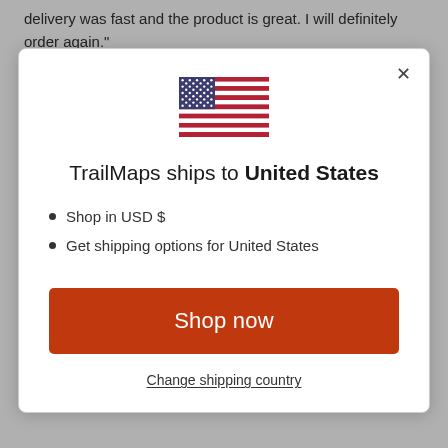delivery was fast and the product is great. I will definitely order again."
[Figure (illustration): US flag SVG illustration]
TrailMaps ships to United States
Shop in USD $
Get shipping options for United States
Shop now
Change shipping country